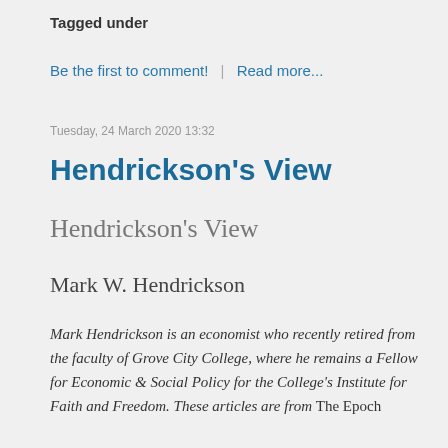Tagged under
Be the first to comment!  |  Read more...
Tuesday, 24 March 2020 13:32
Hendrickson's View
Hendrickson’s View
Mark W. Hendrickson
Mark Hendrickson is an economist who recently retired from the faculty of Grove City College, where he remains a Fellow for Economic & Social Policy for the College’s Institute for Faith and Freedom. These articles are from The Epoch